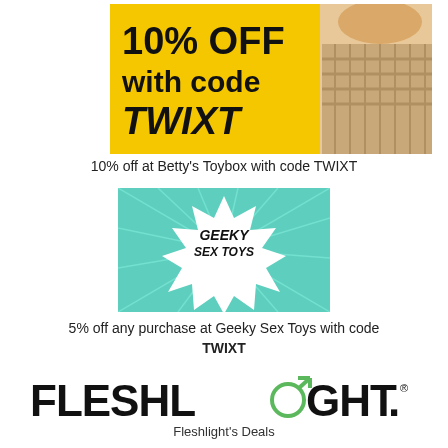[Figure (illustration): Yellow promotional banner showing '10% OFF with code TWIXT' in bold black text on yellow background, with a person wearing a plaid shirt on the right side]
10% off at Betty's Toybox with code TWIXT
[Figure (logo): Geeky Sex Toys logo: teal/turquoise background with radiating lines, white star-burst shape with 'GEEKY SEX TOYS' text in bold]
5% off any purchase at Geeky Sex Toys with code TWIXT
[Figure (logo): Fleshlight logo in bold black text with green male symbol replacing the 'o' in 'LIGHT', with registered trademark symbol]
Fleshlight's Deals